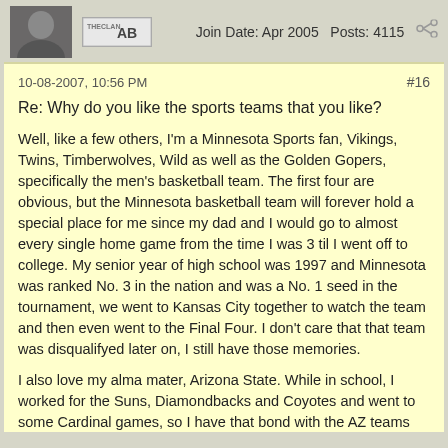Join Date: Apr 2005   Posts: 4115
10-08-2007, 10:56 PM   #16
Re: Why do you like the sports teams that you like?
Well, like a few others, I'm a Minnesota Sports fan, Vikings, Twins, Timberwolves, Wild as well as the Golden Gopers, specifically the men's basketball team. The first four are obvious, but the Minnesota basketball team will forever hold a special place for me since my dad and I would go to almost every single home game from the time I was 3 til I went off to college. My senior year of high school was 1997 and Minnesota was ranked No. 3 in the nation and was a No. 1 seed in the tournament, we went to Kansas City together to watch the team and then even went to the Final Four. I don't care that that team was disqualifyed later on, I still have those memories.
I also love my alma mater, Arizona State. While in school, I worked for the Suns, Diamondbacks and Coyotes and went to some Cardinal games, so I have that bond with the AZ teams and I also have a bond with the Boston area teams as my sister has lived in New England for over 10 years and my brother in law is from Boston. Plus, Boston has all of Minnesota's former stars. Randy Moss, Kevin Garnett and David Ortiz.